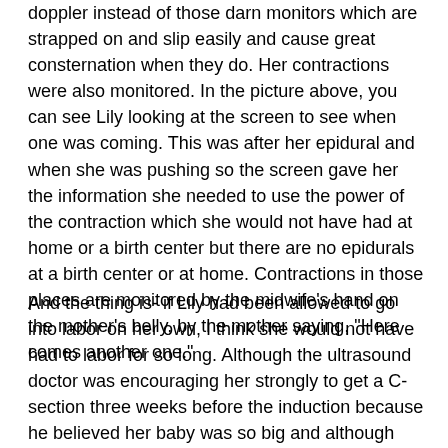doppler instead of those darn monitors which are strapped on and slip easily and cause great consternation when they do. Her contractions were also monitored. In the picture above, you can see Lily looking at the screen to see when one was coming. This was after her epidural and when she was pushing so the screen gave her the information she needed to use the power of the contraction which she would not have had at home or a birth center but there are no epidurals at a birth center or at home. Contractions in those places are monitored by the midwife's hand on the mother's belly, by the mother saying, "Here comes another one."
And the thing is- if Lily had been allowed to go into labor on her own, I think she would not have had to labor for so long. Although the ultrasound doctor was encouraging her strongly to get a C-section three weeks before the induction because he believed her baby was so big and although everyone involved (except Lily) was so damn worried to get him out before any more time had passed, Owen did not appear to be a post-dates baby. And his size- although hefty- was not anywhere near dangerous. I have seen fat babies and Owen is not a fat baby. If Lily had taken his advice, Owen would